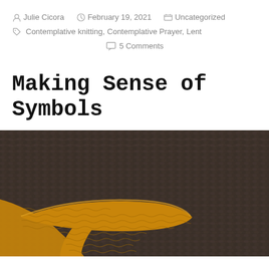Julie Cicora  February 19, 2021  Uncategorized  Contemplative knitting, Contemplative Prayer, Lent  5 Comments
Making Sense of Symbols
[Figure (photo): Close-up photograph of dark brown knitted fabric with a mustard/gold yarn cross or symbol shape knitted into it, showing detailed knit texture]